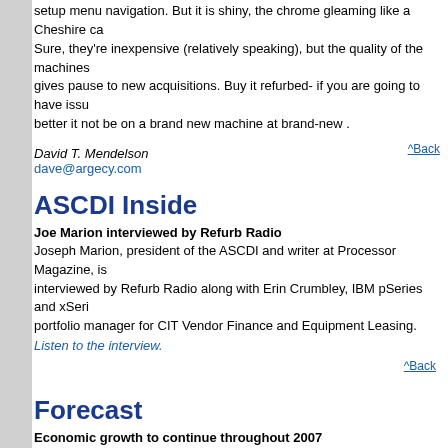setup menu navigation. But it is shiny, the chrome gleaming like a Cheshire ca… Sure, they're inexpensive (relatively speaking), but the quality of the machines gives pause to new acquisitions. Buy it refurbed- if you are going to have issu… better it not be on a brand new machine at brand-new .
David T. Mendelson
dave@argecy.com
^Back
ASCDI Inside
Joe Marion interviewed by Refurb Radio
Joseph Marion, president of the ASCDI and writer at Processor Magazine, is interviewed by Refurb Radio along with Erin Crumbley, IBM pSeries and xSeri… portfolio manager for CIT Vendor Finance and Equipment Leasing.
Listen to the interview.
^Back
Forecast
Economic growth to continue throughout 2007
Economic growth in the United States is sustainable throughout the remainder 2007, say the nation's purchasing and supply executives in their spring 2007 Semiannual Economic Forecast. Expectations for the remainder of 2007 are encouraging in both the manufacturing and non-manufacturing sectors. These projections are part of the forecast issued by the Business Survey Committee the Institute for Supply Management (ISM). The survey panel of purchasing a…